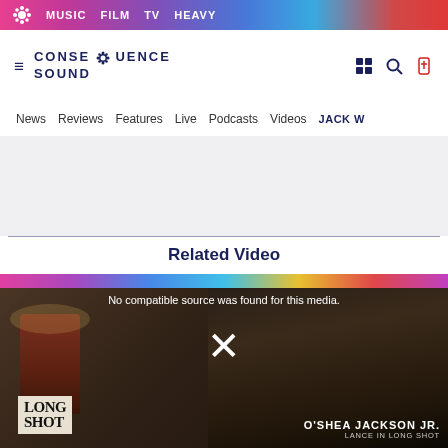MUSIC  FILM  TV  HEAVY
[Figure (screenshot): Consequence Sound website logo with gear icon]
News  Reviews  Features  Live  Podcasts  Videos  JACK WH
Related Video
[Figure (screenshot): Video player showing error message 'No compatible source was found for this media.' with O'Shea Jackson Jr. and Long Shot movie promotional content]